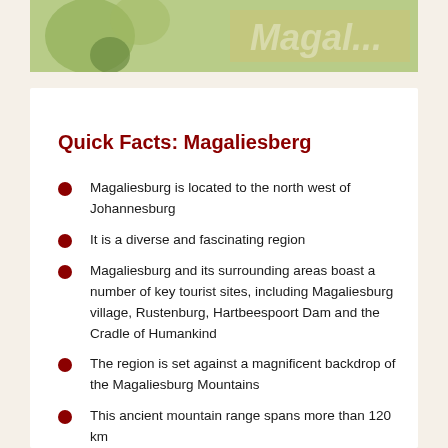[Figure (photo): Partial banner image showing green and golden tones, likely a nature/landscape scene with text 'Magal...' visible in the background]
Quick Facts: Magaliesberg
Magaliesburg is located to the north west of Johannesburg
It is a diverse and fascinating region
Magaliesburg and its surrounding areas boast a number of key tourist sites, including Magaliesburg village, Rustenburg, Hartbeespoort Dam and the Cradle of Humankind
The region is set against a magnificent backdrop of the Magaliesburg Mountains
This ancient mountain range spans more than 120 km
The mountains form a geological divide between two very different landscapes: highveld grassland and